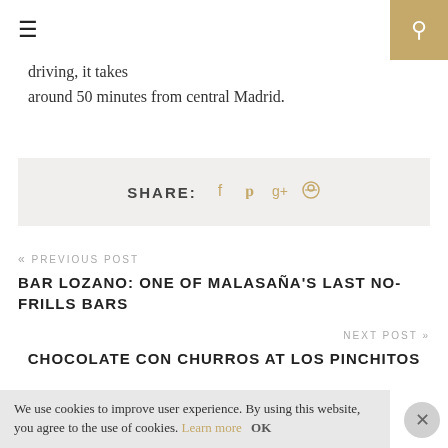≡ [menu] [search]
driving, it takes around 50 minutes from central Madrid.
SHARE: f  t  g+  p
« PREVIOUS POST
BAR LOZANO: ONE OF MALASAÑA'S LAST NO-FRILLS BARS
NEXT POST »
CHOCOLATE CON CHURROS AT LOS PINCHITOS
We use cookies to improve user experience. By using this website, you agree to the use of cookies. Learn more  OK